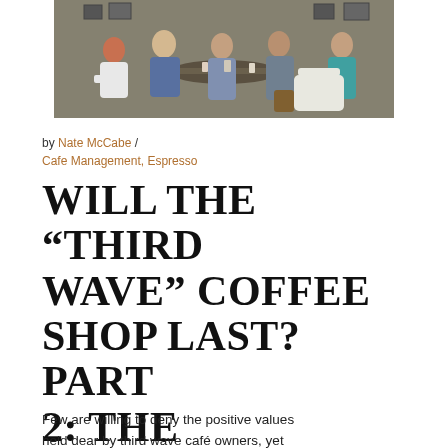[Figure (photo): Group of young people sitting around a table in a café, talking and socializing. The setting has a rustic/industrial feel with photos on the wall behind them.]
by Nate McCabe / Cafe Management, Espresso
WILL THE "THIRD WAVE" COFFEE SHOP LAST? PART 2: THE QUESTIONABLE
Few are willing to deny the positive values held dear by third wave café owners, yet